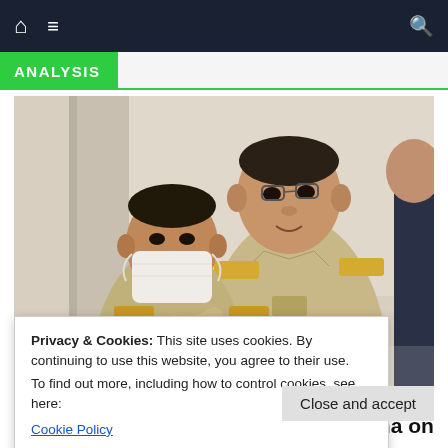🏠 ☰ 🔍 (navigation bar)
ANALYSIS
[Figure (photo): Two men in khaki military/government uniforms. The man on the left wears a white face mask. The man on the right (taller, center) appears to be speaking or posing. A third person in dark clothing is partially visible at right edge. Background is a light-colored interior room.]
Privacy & Cookies: This site uses cookies. By continuing to use this website, you agree to their use.
To find out more, including how to control cookies, see here:
Cookie Policy
Close and accept
With Prime Minister Prayut Chan-o-cha on